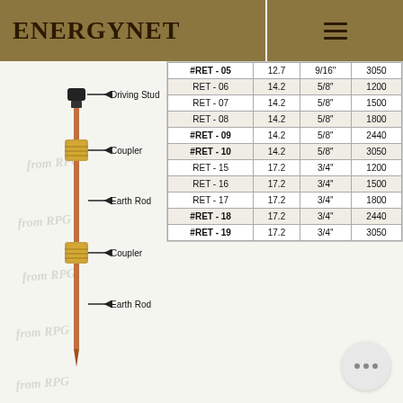ENERGYNET
|  |  |  |  |
| --- | --- | --- | --- |
| #RET - 05 | 12.7 | 9/16" | 3050 |
| RET - 06 | 14.2 | 5/8" | 1200 |
| RET - 07 | 14.2 | 5/8" | 1500 |
| RET - 08 | 14.2 | 5/8" | 1800 |
| #RET - 09 | 14.2 | 5/8" | 2440 |
| #RET - 10 | 14.2 | 5/8" | 3050 |
| RET - 15 | 17.2 | 3/4" | 1200 |
| RET - 16 | 17.2 | 3/4" | 1500 |
| RET - 17 | 17.2 | 3/4" | 1800 |
| #RET - 18 | 17.2 | 3/4" | 2440 |
| #RET - 19 | 17.2 | 3/4" | 3050 |
[Figure (engineering-diagram): Diagram of an earth rod assembly showing components labeled: Driving Stud (top), Coupler, Earth Rod, Coupler, Earth Rod (bottom), with watermark text 'from RPG' repeated.]